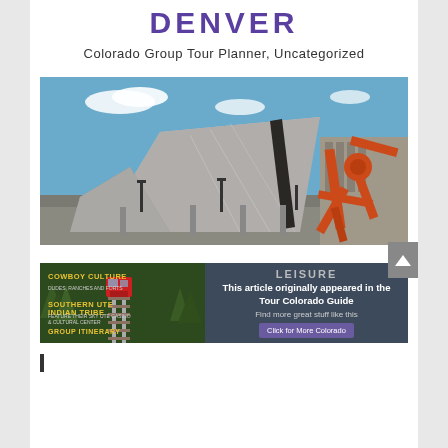DENVER
Colorado Group Tour Planner, Uncategorized
[Figure (photo): Exterior of the Denver Art Museum with its dramatic angular titanium architecture by Daniel Libeskind, and a large orange abstract sculpture in the foreground, under a blue sky.]
[Figure (infographic): Advertisement for Tour Colorado Guide (Leisure). Left side shows a red train on tracks in a forested mountain setting with text: COWBOY CULTURE, SOUTHERN UTE INDIAN TRIBE, GROUP ITINERARY. Right side on dark blue background reads: LEISURE - This article originally appeared in the Tour Colorado Guide - Find more great stuff like this - Click for More Colorado]